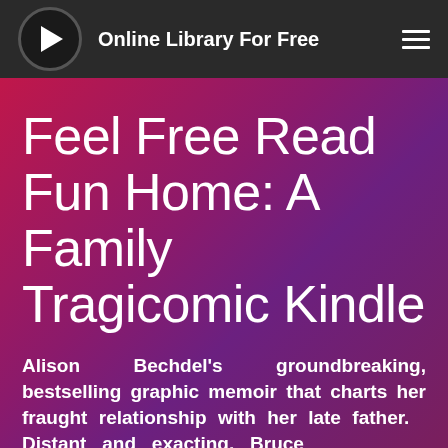Online Library For Free
Feel Free Read Fun Home: A Family Tragicomic Kindle
Alison Bechdel's groundbreaking, bestselling graphic memoir that charts her fraught relationship with her late father. Distant and exacting, Bruce